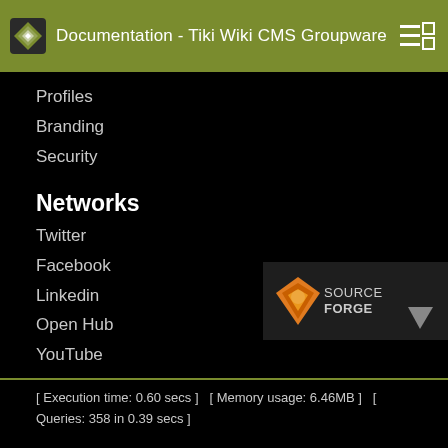Documentation - Tiki Wiki CMS Groupware
Profiles
Branding
Security
Networks
Twitter
Facebook
Linkedin
Open Hub
YouTube
Tiki® and TikiWiki® are registered trademarks of the Tiki Software Community Association.
[Figure (logo): SourceForge logo — orange diamond icon with 'SOURCEFORGE' text and grey triangle]
[ Execution time: 0.60 secs ]  [ Memory usage: 6.46MB ]  [ Queries: 358 in 0.39 secs ]